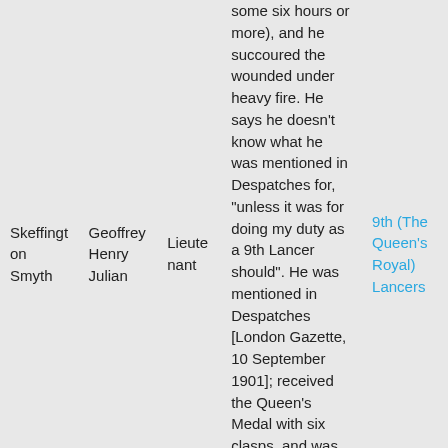| Last Name | First Name(s) | Rank | Description | Regiment |
| --- | --- | --- | --- | --- |
| Skeffington Smyth | Geoffrey Henry Julian | Lieutenant | some six hours or more), and he succoured the wounded under heavy fire. He says he doesn't know what he was mentioned in Despatches for, "unless it was for doing my duty as a 9th Lancer should". He was mentioned in Despatches [London Gazette, 10 September 1901]; received the Queen's Medal with six clasps, and was created a Companion of | 9th (The Queen's Royal) Lancers |